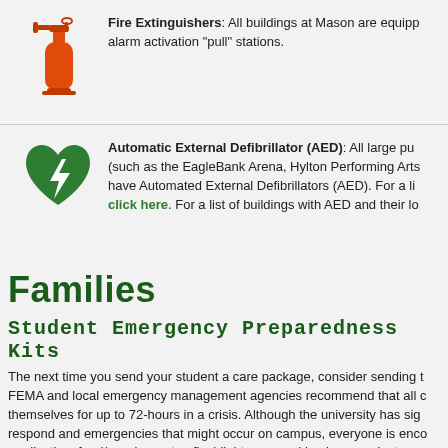[Figure (illustration): Orange fire extinguisher icon]
Fire Extinguishers: All buildings at Mason are equipp- alarm activation "pull" stations.
[Figure (illustration): Green heart with lightning bolt AED icon]
Automatic External Defibrillator (AED): All large pu- (such as the EagleBank Arena, Hylton Performing Arts have Automated External Defibrillators (AED). For a li- click here. For a list of buildings with AED and their lo-
Families
Student Emergency Preparedness Kits
The next time you send your student a care package, consider sending t- FEMA and local emergency management agencies recommend that all c- themselves for up to 72-hours in a crisis. Although the university has sig- respond and emergencies that might occur on campus, everyone is enco- medication, food/snacks, water, flashlight, personal hygiene products a-